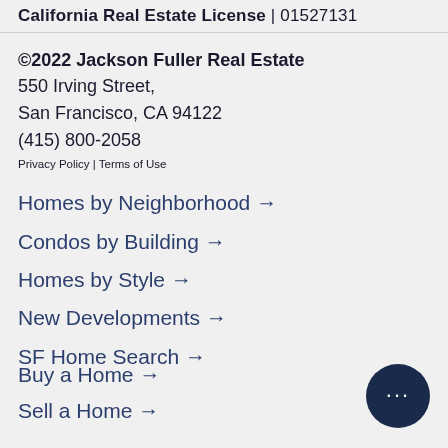California Real Estate License | 01527131
©2022 Jackson Fuller Real Estate
550 Irving Street,
San Francisco, CA 94122
(415) 800-2058
Privacy Policy | Terms of Use
Homes by Neighborhood →
Condos by Building →
Homes by Style →
New Developments →
SF Home Search →
Buy a Home →
Sell a Home →
[Figure (illustration): Dark navy circular chat bubble icon with three white dots indicating a live chat widget]